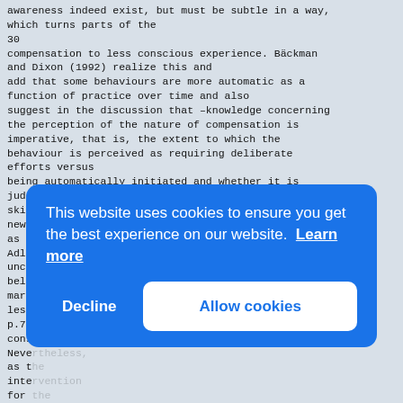awareness indeed exist, but must be subtle in a way, which turns parts of the
30
compensation to less conscious experience. Bäckman and Dixon (1992) realize this and
add that some behaviours are more automatic as a function of practice over time and also
suggest in the discussion that –knowledge concerning the perception of the nature of compensation is
imperative, that is, the extent to which the behaviour is perceived as requiring deliberate efforts versus
being automatically initiated and whether it is judged to draw on normal skills, old but latent skills, or
new skills‖ (p.277). This is the case of older adults as the skill decreases gradually. Alfred
Adler avoided a dichotomy of the conscious versus unconscious by claiming they both
belonged to the same system and that unconsciousness mark[...] less [...] p.75[...] cons[...]
Neve[...] as t[...] inte[...] for [...] This[...] soci[...] that[...]
important factor for any kind of intervention.
This website uses cookies to ensure you get the best experience on our website. Learn more
[Decline] [Allow cookies]